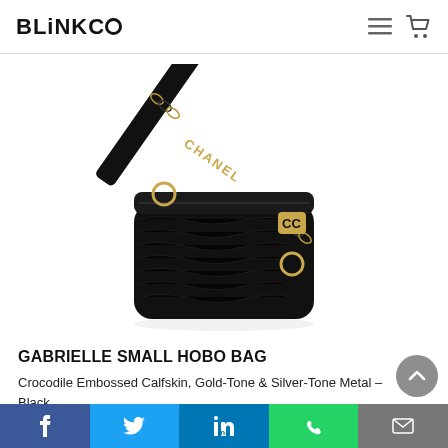BLiNKCo
[Figure (photo): Black Chanel Gabrielle Small Hobo Bag with crocodile embossed calfskin, gold-tone and silver-tone chain strap with 'CHANEL' lettering in gold, and CC logo clasp, photographed on white background.]
GABRIELLE SMALL HOBO BAG
Crocodile Embossed Calfskin, Gold-Tone & Silver-Tone Metal – Black
Facebook | Twitter | LinkedIn | WhatsApp | Email